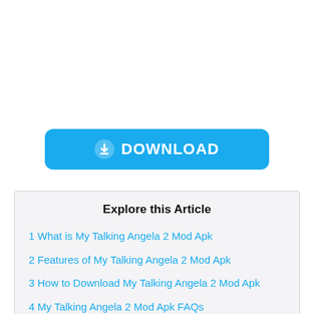[Figure (other): Blue download button with cloud/download icon and text DOWNLOAD]
Explore this Article
1 What is My Talking Angela 2 Mod Apk
2 Features of My Talking Angela 2 Mod Apk
3 How to Download My Talking Angela 2 Mod Apk
4 My Talking Angela 2 Mod Apk FAQs